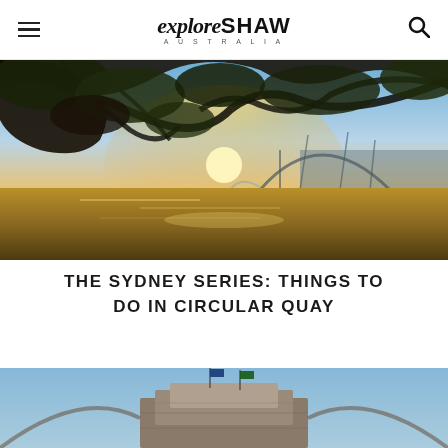exploreSHAW AUSTRALIA
[Figure (photo): Sunset view of Sydney Harbour with the Opera House and Harbour Bridge visible through overhanging tree branches, water reflecting golden sunlight]
THE SYDNEY SERIES: THINGS TO DO IN CIRCULAR QUAY
[Figure (photo): Bottom portion of the Sydney Harbour Bridge against a clear blue sky, with flags visible at the top]